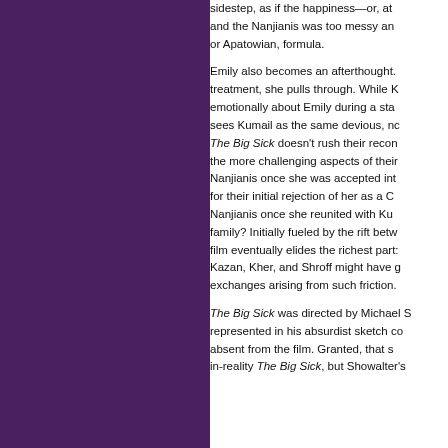sidestep, as if the happiness—or, at and the Nanjianis was too messy an or Apatowian, formula.
Emily also becomes an afterthought. treatment, she pulls through. While K emotionally about Emily during a sta sees Kumail as the same devious, nc The Big Sick doesn't rush their recon the more challenging aspects of their Nanjianis once she was accepted int for their initial rejection of her as a C Nanjianis once she reunited with Ku family? Initially fueled by the rift betw film eventually elides the richest parts Kazan, Kher, and Shroff might have g exchanges arising from such friction.
The Big Sick was directed by Michael S represented in his absurdist sketch c absent from the film. Granted, that s in-reality The Big Sick, but Showalter's